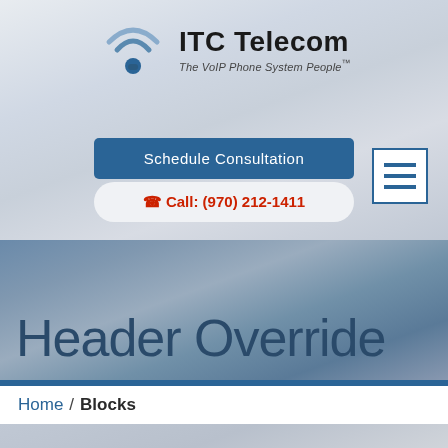[Figure (logo): ITC Telecom logo with stylized WiFi/phone handset icon in blue and gray, company name 'ITC Telecom' in bold black, tagline 'The VoIP Phone System People™' in italic gray]
Schedule Consultation
☎ Call: (970) 212-1411
[Figure (other): Hamburger menu icon — three horizontal blue lines inside a blue-bordered white square]
Header Override
Home / Blocks